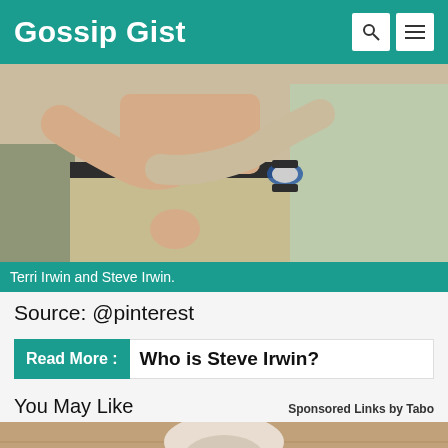Gossip Gist
[Figure (photo): Close-up photo of Terri Irwin and Steve Irwin embracing, showing torso area with arms around each other; man wearing khaki pants with black belt and blue wristwatch, woman in light green shirt]
Terri Irwin and Steve Irwin.
Source: @pinterest
Read More : Who is Steve Irwin?
You May Like
Sponsored Links by Taboola
[Figure (photo): Partial view of a hand holding a light-colored object against a wooden surface background]